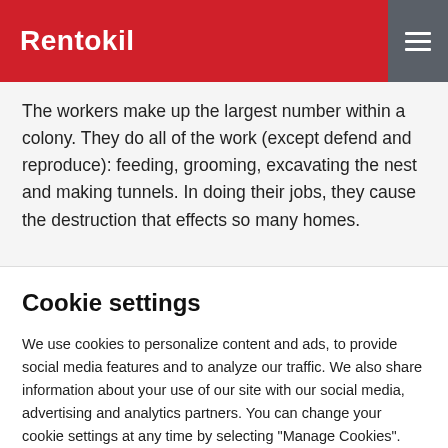Rentokil
The workers make up the largest number within a colony. They do all of the work (except defend and reproduce): feeding, grooming, excavating the nest and making tunnels. In doing their jobs, they cause the destruction that effects so many homes.
Cookie settings
We use cookies to personalize content and ads, to provide social media features and to analyze our traffic. We also share information about your use of our site with our social media, advertising and analytics partners. You can change your cookie settings at any time by selecting "Manage Cookies". Privacy policy
Cookies Settings   Accept All Cookies